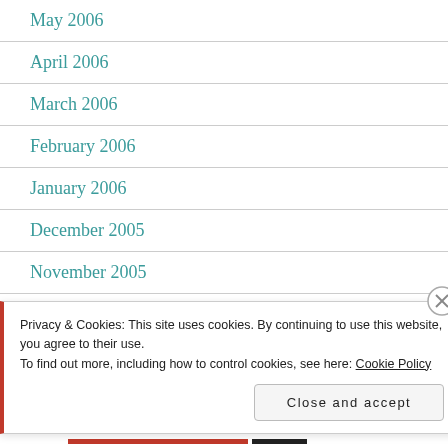May 2006
April 2006
March 2006
February 2006
January 2006
December 2005
November 2005
Privacy & Cookies: This site uses cookies. By continuing to use this website, you agree to their use.
To find out more, including how to control cookies, see here: Cookie Policy
Close and accept